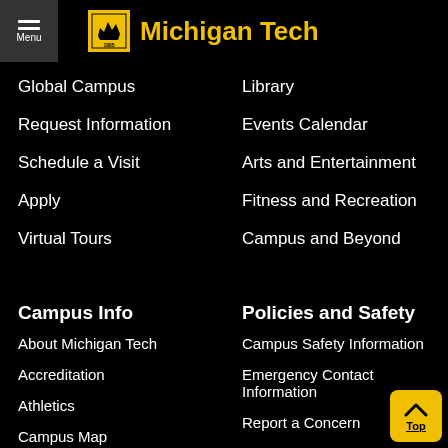Michigan Tech
Global Campus
Library
Request Information
Events Calendar
Schedule a Visit
Arts and Entertainment
Apply
Fitness and Recreation
Virtual Tours
Campus and Beyond
Campus Info
Policies and Safety
About Michigan Tech
Campus Safety Information
Accreditation
Emergency Contact Information
Athletics
Report a Concern
Campus Map
Public Safety / Police Services